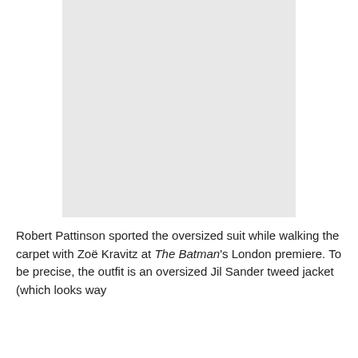[Figure (photo): A gray placeholder rectangle representing a photo of Robert Pattinson and Zoë Kravitz at The Batman London premiere.]
Robert Pattinson sported the oversized suit while walking the carpet with Zoë Kravitz at The Batman's London premiere. To be precise, the outfit is an oversized Jil Sander tweed jacket (which looks way